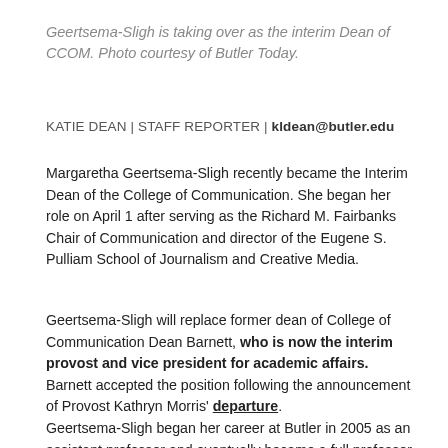Geertsema-Sligh is taking over as the interim Dean of CCOM. Photo courtesy of Butler Today.
KATIE DEAN | STAFF REPORTER | kldean@butler.edu
Margaretha Geertsema-Sligh recently became the Interim Dean of the College of Communication. She began her role on April 1 after serving as the Richard M. Fairbanks Chair of Communication and director of the Eugene S. Pulliam School of Journalism and Creative Media.
Geertsema-Sligh will replace former dean of College of Communication Dean Barnett, who is now the interim provost and vice president for academic affairs. Barnett accepted the position following the announcement of Provost Kathryn Morris' departure.
Geertsema-Sligh began her career at Butler in 2005 as an assistant professor and eventually became a full professor in 2017. In 2016, she began her role as the Director of the Eugene S. Pulliam School of Journalism and Creative